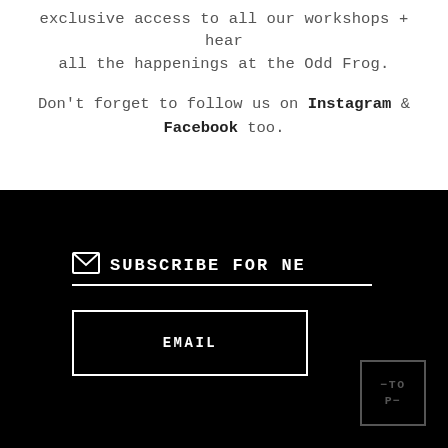Subscribe to our monthly newsletter to get exclusive access to all our workshops + hear all the happenings at the Odd Frog.
Don't forget to follow us on Instagram & Facebook too.
SUBSCRIBE FOR NE[WSLETTER]
EMAIL
-TO
P-